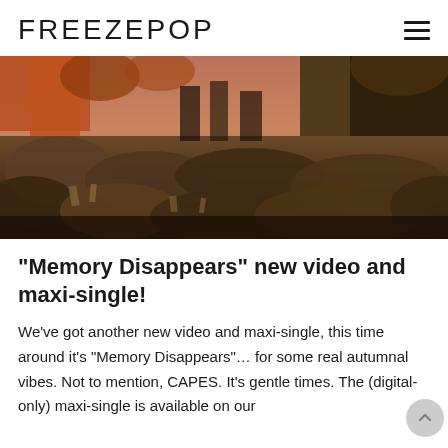FREEZEPOP
[Figure (photo): Outdoor scene showing people standing on rocky terrain with autumn foliage in the background, warm brownish tones]
“Memory Disappears” new video and maxi-single!
We’ve got another new video and maxi-single, this time around it’s “Memory Disappears”… for some real autumnal vibes. Not to mention, CAPES. It’s gentle times. The (digital-only) maxi-single is available on our